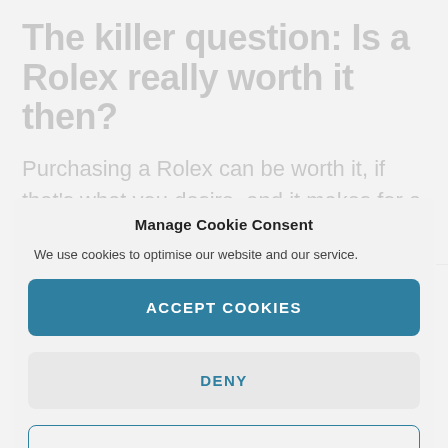The killer question: Is a Rolex really worth it then?
Purchasing a Rolex can be worth it, if that's what you desire, and it makes for a great investment.
Manage Cookie Consent
We use cookies to optimise our website and our service.
ACCEPT COOKIES
DENY
VIEW PREFERENCES